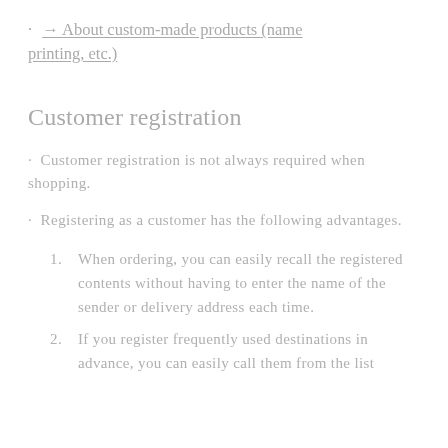→ About custom-made products (name printing, etc.)
Customer registration
· Customer registration is not always required when shopping.
· Registering as a customer has the following advantages.
1. When ordering, you can easily recall the registered contents without having to enter the name of the sender or delivery address each time.
2. If you register frequently used destinations in advance, you can easily call them from the list.